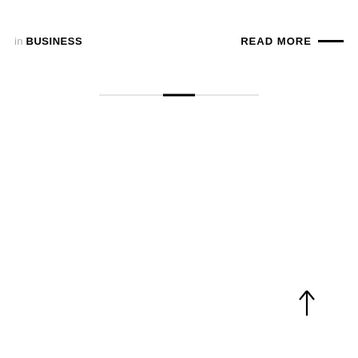in BUSINESS    READ MORE —
[Figure (other): A horizontal decorative line element composed of a thin gray line on either side with a short bold black segment in the center, centered on the page.]
[Figure (other): An upward-pointing arrow (↑) in the lower right area of the page.]